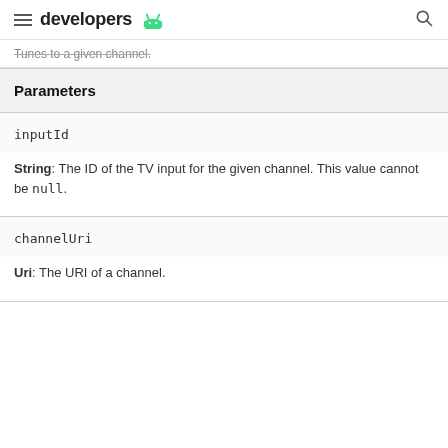developers
Tunes to a given channel.
| Parameters |
| --- |
| inputId |
| String: The ID of the TV input for the given channel. This value cannot be null. |
| channelUri |
| Uri: The URI of a channel. |